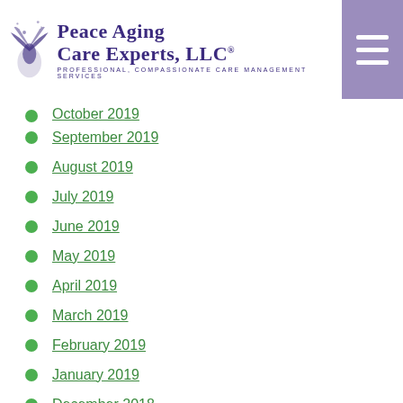Peace Aging Care Experts, LLC® — Professional, Compassionate Care Management Services
October 2019
September 2019
August 2019
July 2019
June 2019
May 2019
April 2019
March 2019
February 2019
January 2019
December 2018
November 2018
September 2018
August 2018